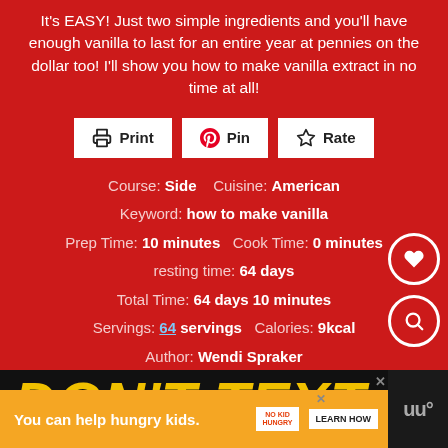It's EASY! Just two simple ingredients and you'll have enough vanilla to last for an entire year at pennies on the dollar too! I'll show you how to make vanilla extract in no time at all!
[Figure (other): Three action buttons: Print, Pin, Rate]
Course: Side   Cuisine: American   Keyword: how to make vanilla   Prep Time: 10 minutes   Cook Time: 0 minutes   resting time: 64 days   Total Time: 64 days 10 minutes   Servings: 64 servings   Calories: 9kcal   Author: Wendi Spraker
[Figure (screenshot): Advertisement banner showing 'DON'T TEXT' and 'You can help hungry kids. No Kid Hungry. LEARN HOW']